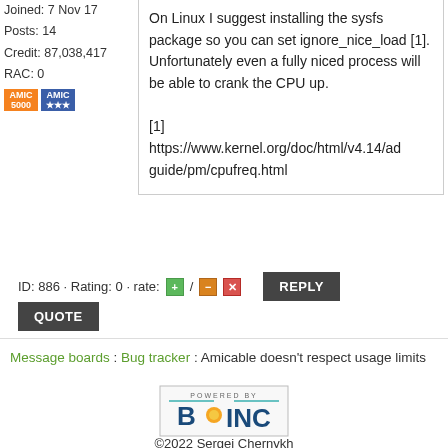Joined: 7 Nov 17
Posts: 14
Credit: 87,038,417
RAC: 0
[Figure (illustration): Two small badges: orange AMIC 5000 badge and blue AMIC three-star badge]
On Linux I suggest installing the sysfs package so you can set ignore_nice_load [1]. Unfortunately even a fully niced process will be able to crank the CPU up.

[1]
https://www.kernel.org/doc/html/v4.14/ad guide/pm/cpufreq.html
ID: 886 · Rating: 0 · rate: / REPLY QUOTE
Message boards : Bug tracker : Amicable doesn't respect usage limits
[Figure (logo): Powered by BOINC logo]
©2022 Sergei Chernykh